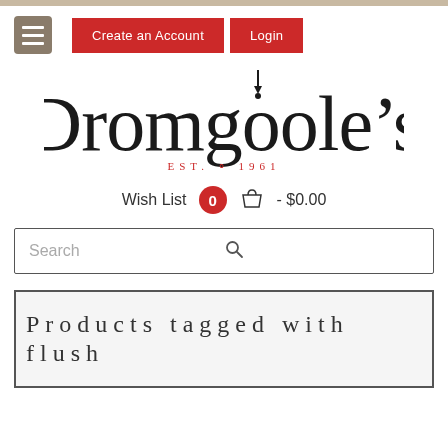Create an Account   Login
[Figure (logo): Dromgoole's EST. 1961 logo with fountain pen illustration]
Wish List  0  - $0.00
Search
Products tagged with flush